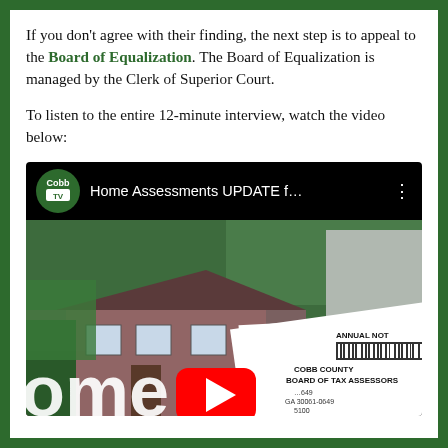If you don't agree with their finding, the next step is to appeal to the Board of Equalization. The Board of Equalization is managed by the Clerk of Superior Court.
To listen to the entire 12-minute interview, watch the video below:
[Figure (screenshot): YouTube video thumbnail showing 'Home Assessments UPDATE f...' with Cobb TV logo, thumbnail image of a house with Cobb County Board of Tax Assessors document, and a YouTube play button.]